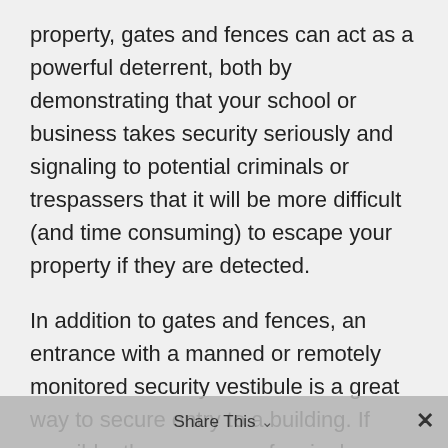property, gates and fences can act as a powerful deterrent, both by demonstrating that your school or business takes security seriously and signaling to potential criminals or trespassers that it will be more difficult (and time consuming) to escape your property if they are detected.
In addition to gates and fences, an entrance with a manned or remotely monitored security vestibule is a great way to secure entry to a building. If possible, the presence of a single security staff member can make a big difference in deterring unauthorized visitors. And when on-premises security isn't feasible, there are remote solutions.
Remote access control, remote monitoring, and remote speakers are an efficient option
Share This